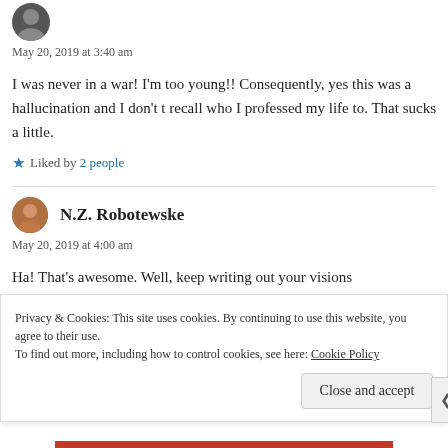May 20, 2019 at 3:40 am
I was never in a war! I'm too young!! Consequently, yes this was a hallucination and I don't t recall who I professed my life to. That sucks a little.
Liked by 2 people
N.Z. Robotewske
May 20, 2019 at 4:00 am
Ha! That's awesome. Well, keep writing out your visions
Privacy & Cookies: This site uses cookies. By continuing to use this website, you agree to their use. To find out more, including how to control cookies, see here: Cookie Policy